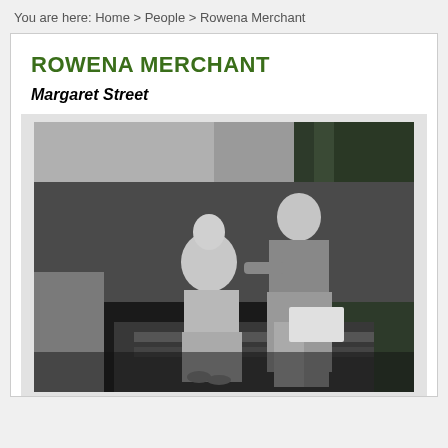You are here: Home > People > Rowena Merchant
ROWENA MERCHANT
Margaret Street
[Figure (photo): Black and white photograph of two people, a woman seated on the left in a light dress and a man standing/leaning behind her in a suit, outdoors with trees in the background.]